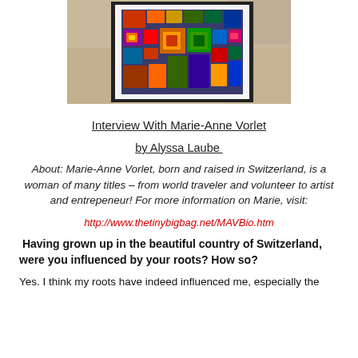[Figure (photo): A framed artwork with colorful geometric squares and rectangles in a concentric pattern, displayed against a stone wall background.]
Interview With Marie-Anne Vorlet
by Alyssa Laube
About: Marie-Anne Vorlet, born and raised in Switzerland, is a woman of many titles – from world traveler and volunteer to artist and entrepeneur! For more information on Marie, visit:
http://www.thetinybigbag.net/MAVBio.htm
Having grown up in the beautiful country of Switzerland, were you influenced by your roots? How so?
Yes. I think my roots have indeed influenced me, especially the